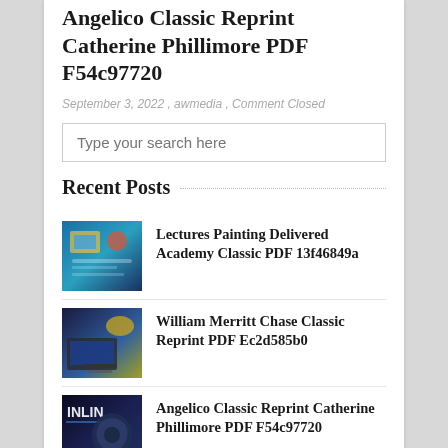Angelico Classic Reprint Catherine Phillimore PDF F54c97720
September 3, 2022 , awmedia , Comment Closed
Type your search here
Recent Posts
Lectures Painting Delivered Academy Classic PDF 13f46849a
William Merritt Chase Classic Reprint PDF Ec2d585b0
Angelico Classic Reprint Catherine Phillimore PDF F54c97720
Catalog Pictures Celebrated...